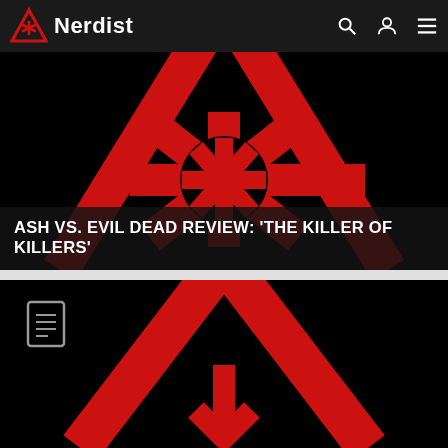Nerdist
[Figure (illustration): Black background with a large red Nerdist logo symbol — two diagonal lines forming an inverted V shape with a starburst/asterisk shape in the center and horizontal lines]
ASH VS. EVIL DEAD REVIEW: ‘THE KILLER OF KILLERS’
[Figure (illustration): Black background with large red Nerdist logo symbol — inverted V / triangle shape with a downward arrow in the center, with a document/article icon in the top-left corner]